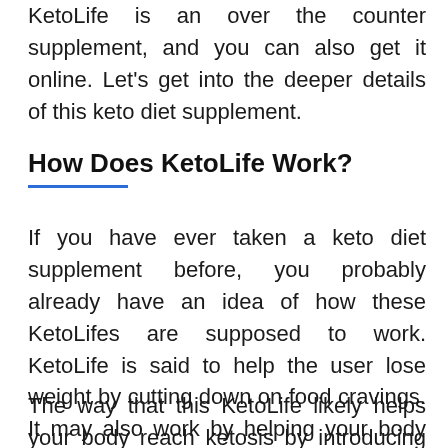KetoLife is an over the counter supplement, and you can also get it online. Let's get into the deeper details of this keto diet supplement.
How Does KetoLife Work?
If you have ever taken a keto diet supplement before, you probably already have an idea of how these KetoLifes are supposed to work. KetoLife is said to help the user lose weight by cutting down on food cravings. It may also work by helping your body reach a state of ketosis without having to eat a bunch of keto-friendly foods.
The way that this KetoLife likely helps your body reach ketosis by introducing exogenous ketones to